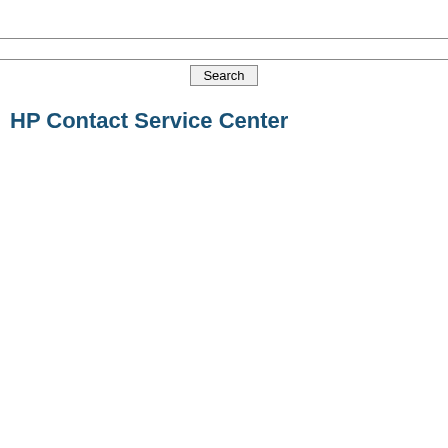[Figure (screenshot): Search input bar spanning full width with border top and bottom]
[Figure (screenshot): Search button centered below the search bar]
HP Contact Service Center